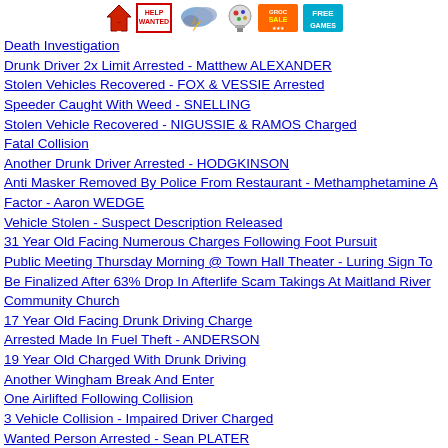[Navigation icons: house, help wanted, weather, gumball machine, sale, free games]
Death Investigation
Drunk Driver 2x Limit Arrested - Matthew ALEXANDER
Stolen Vehicles Recovered - FOX & VESSIE Arrested
Speeder Caught With Weed - SNELLING
Stolen Vehicle Recovered - NIGUSSIE & RAMOS Charged
Fatal Collision
Another Drunk Driver Arrested - HODGKINSON
Anti Masker Removed By Police From Restaurant - Methamphetamine A Factor - Aaron WEDGE
Vehicle Stolen - Suspect Description Released
31 Year Old Facing Numerous Charges Following Foot Pursuit
Public Meeting Thursday Morning @ Town Hall Theater - Luring Sign To Be Finalized After 63% Drop In Afterlife Scam Takings At Maitland River Community Church
17 Year Old Facing Drunk Driving Charge
Arrested Made In Fuel Theft - ANDERSON
19 Year Old Charged With Drunk Driving
Another Wingham Break And Enter
One Airlifted Following Collision
3 Vehicle Collision - Impaired Driver Charged
Wanted Person Arrested - Sean PLATER
Wayne GUSE - Drunk Driving
Wingham Methamphetamine Bust - Quinn RINGLER
Adam KOEHLER - Drunk Driving
Brett FISHER - 140 in an 80
Roy De Bruijn - 135 in an 80